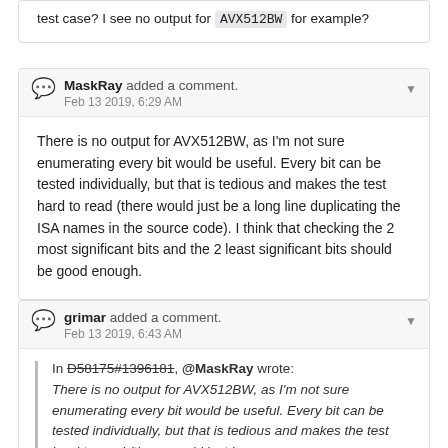test case? I see no output for AVX512BW for example?
MaskRay added a comment. Feb 13 2019, 6:29 AM
There is no output for AVX512BW, as I'm not sure enumerating every bit would be useful. Every bit can be tested individually, but that is tedious and makes the test hard to read (there would just be a long line duplicating the ISA names in the source code). I think that checking the 2 most significant bits and the 2 least significant bits should be good enough.
grimar added a comment. Feb 13 2019, 6:43 AM
In D58175#1396181, @MaskRay wrote: There is no output for AVX512BW, as I'm not sure enumerating every bit would be useful. Every bit can be tested individually, but that is tedious and makes the test hard to read (there would just be a long line duplicating the ISA names in the source code). I think that...